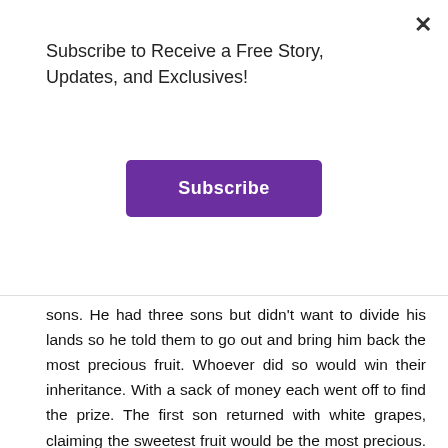Subscribe to Receive a Free Story, Updates, and Exclusives!
Subscribe
sons. He had three sons but didn't want to divide his lands so he told them to go out and bring him back the most precious fruit. Whoever did so would win their inheritance. With a sack of money each went off to find the prize. The first son returned with white grapes, claiming the sweetest fruit would be the most precious. The second son brought back oranges, dates, and bananas from Africa claiming that the most precious was that which was hardest to get. Finally the third son presented himself. He had spent his sack of money on an education and bettering himself claiming knowledge was the most precious fruit. The father was impressed with the third son's creativity and intelligence and rewarded him the inheritance.